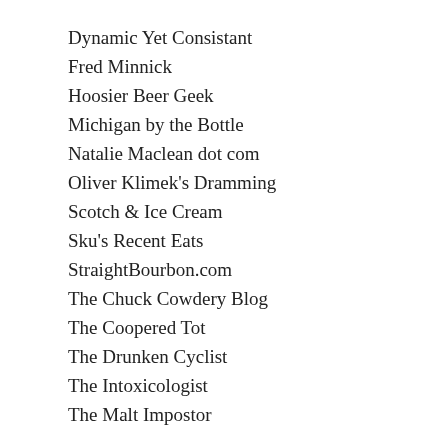Dynamic Yet Consistant
Fred Minnick
Hoosier Beer Geek
Michigan by the Bottle
Natalie Maclean dot com
Oliver Klimek's Dramming
Scotch & Ice Cream
Sku's Recent Eats
StraightBourbon.com
The Chuck Cowdery Blog
The Coopered Tot
The Drunken Cyclist
The Intoxicologist
The Malt Impostor